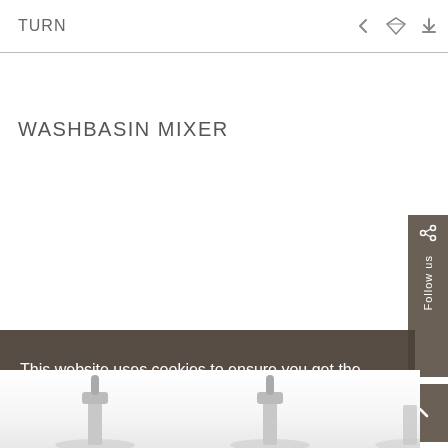TURN
WASHBASIN MIXER
This website uses cookies to ensure you get the best experience on our website. Learn more
Got it!
[Figure (screenshot): Product images of washbasin mixers partially visible at the bottom of the page]
Follow us